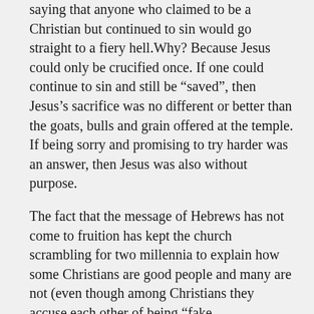saying that anyone who claimed to be a Christian but continued to sin would go straight to a fiery hell.Why? Because Jesus could only be crucified once. If one could continue to sin and still be “saved”, then Jesus’s sacrifice was no different or better than the goats, bulls and grain offered at the temple. If being sorry and promising to try harder was an answer, then Jesus was also without purpose.
The fact that the message of Hebrews has not come to fruition has kept the church scrambling for two millennia to explain how some Christians are good people and many are not (even though among Christians they accuse each other of being “fake